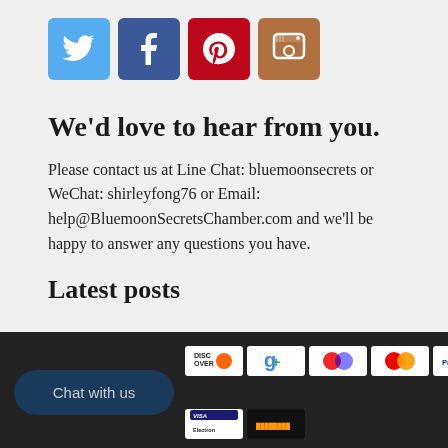[Figure (infographic): Social media icons: Twitter (blue), Facebook (dark blue), Pinterest (red), Instagram (brown/orange)]
We'd love to hear from you.
Please contact us at Line Chat: bluemoonsecrets or WeChat: shirleyfong76 or Email: help@BluemoonSecretsChamber.com and we'll be happy to answer any questions you have.
Latest posts
[Figure (infographic): Dark footer area with Chat with us button and payment icons: Discover, Google, Maestro, Mastercard, PayPal, Visa, Visa Electron, and an upload/back-to-top arrow button]
Contact About Us Terms & Conditions